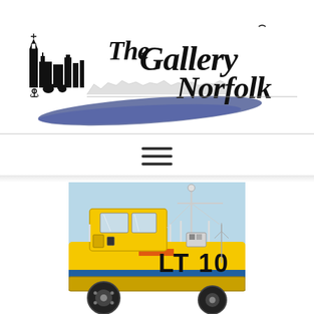[Figure (logo): The Gallery Norfolk logo with illustrated skyline of Norwich/Norfolk buildings and hand-lettered text]
[Figure (illustration): Close-up illustration of a yellow RNLI lifeboat on a wheeled carriage, showing cabin, antenna mast, and 'LT10' markings, against a light blue sky background]